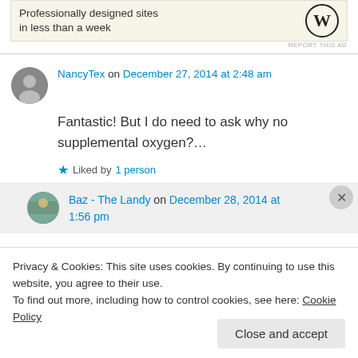[Figure (illustration): WordPress ad banner: 'Professionally designed sites in less than a week' with WordPress logo]
REPORT THIS AD
NancyTex on December 27, 2014 at 2:48 am
Fantastic! But I do need to ask why no supplemental oxygen?…
Liked by 1 person
Baz - The Landy on December 28, 2014 at 1:56 pm
Privacy & Cookies: This site uses cookies. By continuing to use this website, you agree to their use. To find out more, including how to control cookies, see here: Cookie Policy